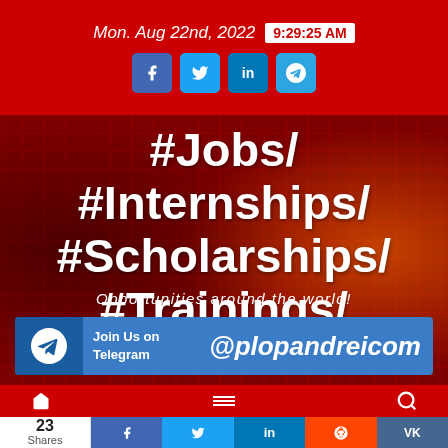Mon. Aug 22nd, 2022  9:29:25 AM
[Figure (infographic): Social media website screenshot showing jobs/internships/scholarships/trainings promotional banner with keyboard background, hashtags #Jobs/ #Internships/ #Scholarships/ #Trainings/, tagline 'Opportunities around the world!', and Telegram join banner @plopandreicom]
#Jobs/ #Internships/ #Scholarships/ #Trainings/
Opportunities around the world!
Join Us on Telegram @plopandreicom
23 Shares